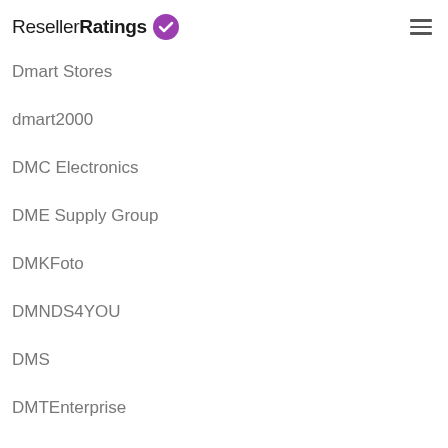ResellerRatings
Dmart Stores
dmart2000
DMC Electronics
DME Supply Group
DMKFoto
DMNDS4YOU
DMS
DMTEnterprise